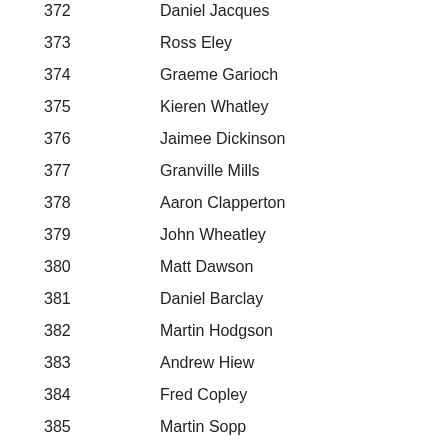372  Daniel Jacques
373  Ross Eley
374  Graeme Garioch
375  Kieren Whatley
376  Jaimee Dickinson
377  Granville Mills
378  Aaron Clapperton
379  John Wheatley
380  Matt Dawson
381  Daniel Barclay
382  Martin Hodgson
383  Andrew Hiew
384  Fred Copley
385  Martin Sopp